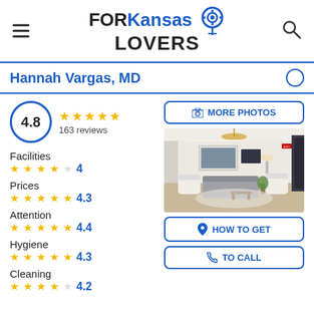FOR Kansas LOVERS
Hannah Vargas, MD
4.8  163 reviews
Facilities 4
Prices 4.3
Attention 4.4
Hygiene 4.3
Cleaning 4.2
[Figure (photo): Interior of a medical office waiting room with white chairs, sofa, artwork on walls, and chandelier]
MORE PHOTOS
HOW TO GET
TO CALL